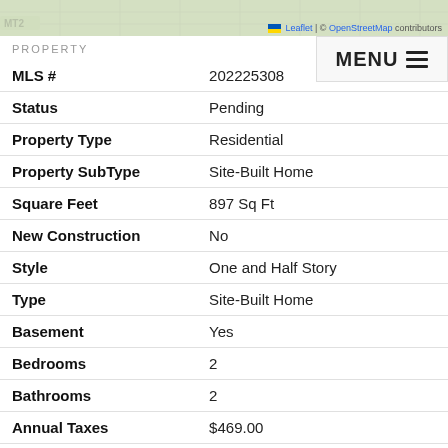[Figure (map): Street map snippet showing MT2 label, with Leaflet and OpenStreetMap attribution]
PROPERTY
| Field | Value |
| --- | --- |
| MLS # | 202225308 |
| Status | Pending |
| Property Type | Residential |
| Property SubType | Site-Built Home |
| Square Feet | 897 Sq Ft |
| New Construction | No |
| Style | One and Half Story |
| Type | Site-Built Home |
| Basement | Yes |
| Bedrooms | 2 |
| Bathrooms | 2 |
| Annual Taxes | $469.00 |
| Year Taxes Payable | 2022 |
| Year Built | 1939 |
| Virtual Tour | tours.databasedads.com » |